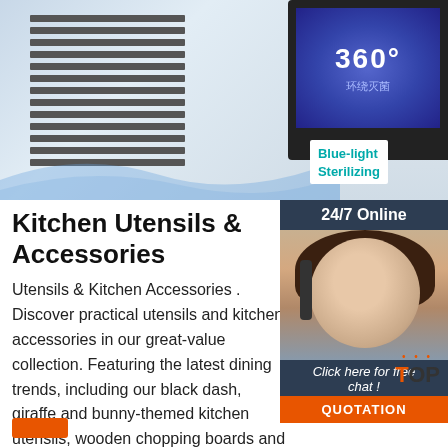[Figure (photo): Product photo of a home appliance (air purifier/sterilizer) on the left with metal grille, and a device with blue-light sterilizing screen on the right, with 'Blue-light Sterilizing' label overlay]
[Figure (photo): 24/7 Online chat widget with female customer service agent wearing headset, 'Click here for free chat!' text, and orange QUOTATION button]
Kitchen Utensils & Accessories
Utensils & Kitchen Accessories . Discover practical utensils and kitchen accessories in our great-value collection. Featuring the latest dining trends, including our black dash, giraffe and bunny-themed kitchen utensils, wooden chopping boards and iridescent utensils, our range will add elegance and comfort to your cooking process.
[Figure (logo): TOP button logo with orange dots and orange T in TOP text]